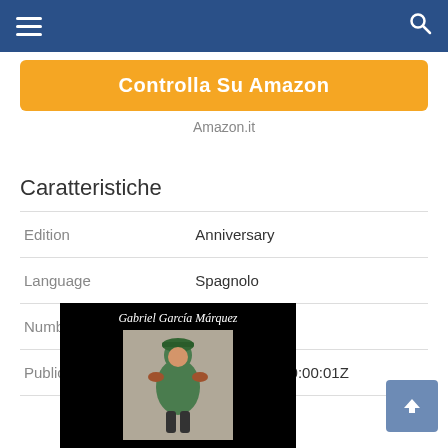≡   🔍
Controlla Su Amazon
Amazon.it
Caratteristiche
| Edition | Anniversary |
| Language | Spagnolo |
| Number Of Pages | 398 |
| Publication Date | 2017-10-24T00:00:01Z |
[Figure (photo): Book cover of Gabriel García Márquez with a figurine illustration on black background]
▲